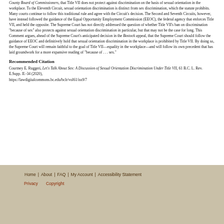County Board of Commissioners, that Title VII does not protect against discrimination on the basis of sexual orientation in the workplace. To the Eleventh Circuit, sexual orientation discrimination is distinct from sex discrimination, which the statute prohibits. Many courts continue to follow this traditional rule and agree with the Circuit's decision. The Second and Seventh Circuits, however, have instead followed the guidance of the Equal Opportunity Employment Commission (EEOC), the federal agency that enforces Title VII, and held the opposite. The Supreme Court has not directly addressed the question of whether Title VII's ban on discrimination "because of sex" also protects against sexual orientation discrimination in particular, but that may not be the case for long. This Comment argues, ahead of the Supreme Court's anticipated decision in the Bostock appeal, that the Supreme Court should follow the guidance of EEOC and definitively hold that sexual orientation discrimination in the workplace is prohibited by Title VII. By doing so, the Supreme Court will remain faithful to the goal of Title VII—equality in the workplace—and will follow its own precedent that has laid groundwork for a more expansive reading of "because of . . . sex."
Recommended Citation
Courtney E. Ruggeri, Let's Talk About Sex: A Discussion of Sexual Orientation Discrimination Under Title VII, 61 B.C. L. Rev. E.Supp. II.-34 (2020), https://lawdigitalcommons.bc.edu/bclr/vol61/iss9/7
Home | About | FAQ | My Account | Accessibility Statement
Privacy   Copyright